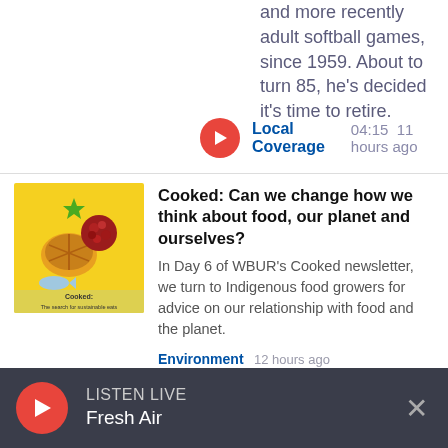and more recently adult softball games, since 1959. About to turn 85, he's decided it's time to retire.
[Figure (screenshot): Red play button icon with Local Coverage label, duration 04:15, 11 hours ago]
[Figure (illustration): Cooked newsletter thumbnail - colorful food illustration with text 'Cooked: The search for sustainable eats']
Cooked: Can we change how we think about food, our planet and ourselves?
In Day 6 of WBUR's Cooked newsletter, we turn to Indigenous food growers for advice on our relationship with food and the planet.
Environment  12 hours ago
[Figure (photo): Partial thumbnail of food in a container for 'Cooked: How can I throw away less food?' article]
Cooked: How can I throw away less food?
[Figure (screenshot): Bottom bar: Listen Live - Fresh Air with red play button and X close button]